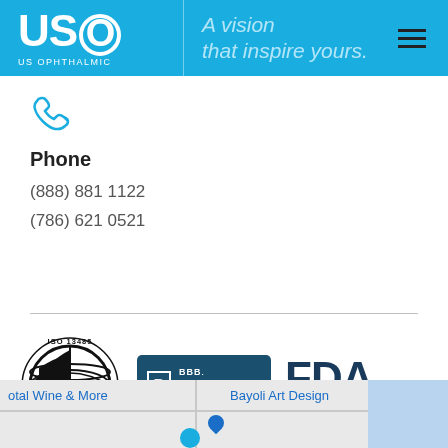US Ophthalmic — A vision that inspire yours.
[Figure (logo): Phone/telephone icon in blue outline style]
Phone
(888) 881 1122
(786) 621 0521
[Figure (logo): ISO 13485 Certification globe badge (black and white)]
[Figure (logo): BBB Accredited Business badge (dark teal/navy)]
[Figure (logo): FDA Registered badge]
[Figure (map): Google Maps partial view showing Total Wine & More and Bayoli Art Design locations]